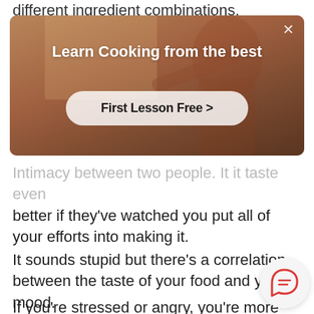different ingredient combinations.
[Figure (screenshot): Advertisement banner for a cooking class website. Shows a person cooking in the background with text 'Learn Cooking from the best' and a button 'First Lesson Free >' and a close X button in the top right.]
Intimacy between two people. It it taste even better if they've watched you put all of your efforts into making it.
It sounds stupid but there's a correlation between the taste of your food and your mood.
If you're stressed or angry, you're more likely make errors when measuring things out or adding